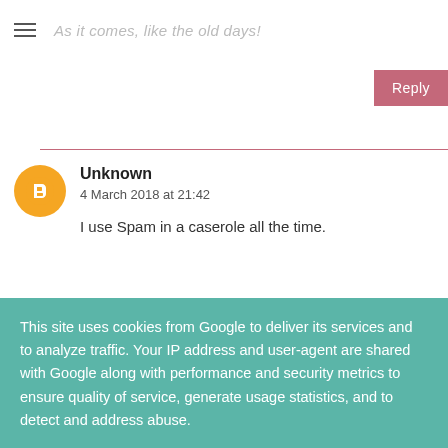As it comes, like the old days!
Reply
Unknown
4 March 2018 at 21:42

I use Spam in a caserole all the time.
Reply
Mark Barlow
This site uses cookies from Google to deliver its services and to analyze traffic. Your IP address and user-agent are shared with Google along with performance and security metrics to ensure quality of service, generate usage statistics, and to detect and address abuse.
LEARN MORE    OK